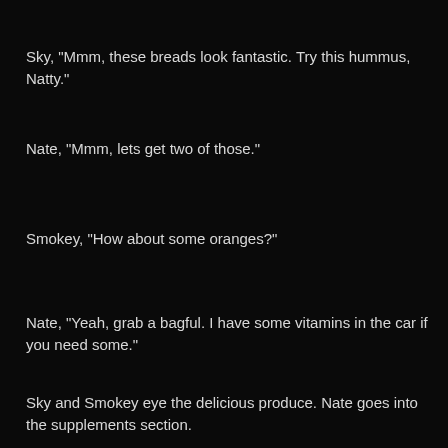Sky, "Mmm, these breads look fantastic. Try this hummus, Natty."
Nate, "Mmm, lets get two of those."
Smokey, "How about some oranges?"
Nate, "Yeah, grab a bagful. I have some vitamins in the car if you need some."
Sky and Smokey eye the delicious produce. Nate goes into the supplements section.
Clerk, "Anything I can help you with?"